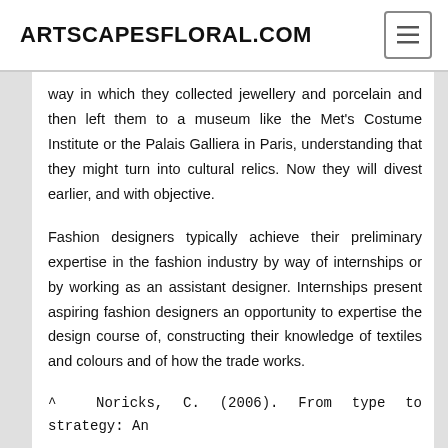ARTSCAPESFLORAL.COM
way in which they collected jewellery and porcelain and then left them to a museum like the Met's Costume Institute or the Palais Galliera in Paris, understanding that they might turn into cultural relics. Now they will divest earlier, and with objective.
Fashion designers typically achieve their preliminary expertise in the fashion industry by way of internships or by working as an assistant designer. Internships present aspiring fashion designers an opportunity to expertise the design course of, constructing their knowledge of textiles and colours and of how the trade works.
^ Noricks, C. (2006). From type to strategy: An